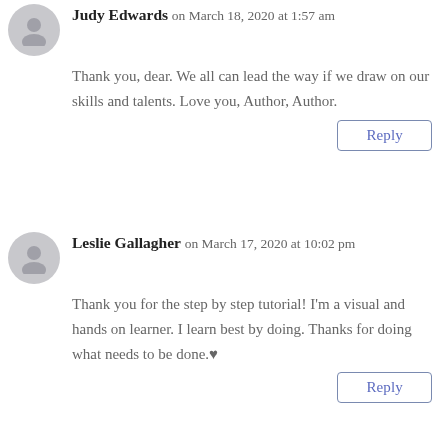Judy Edwards on March 18, 2020 at 1:57 am
Thank you, dear. We all can lead the way if we draw on our skills and talents. Love you, Author, Author.
Reply
Leslie Gallagher on March 17, 2020 at 10:02 pm
Thank you for the step by step tutorial! I'm a visual and hands on learner. I learn best by doing. Thanks for doing what needs to be done.♥
Reply